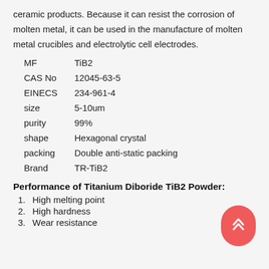ceramic products. Because it can resist the corrosion of molten metal, it can be used in the manufacture of molten metal crucibles and electrolytic cell electrodes.
| MF | TiB2 |
| CAS No | 12045-63-5 |
| EINECS | 234-961-4 |
| size | 5-10um |
| purity | 99% |
| shape | Hexagonal crystal |
| packing | Double anti-static packing |
| Brand | TR-TiB2 |
Performance of Titanium Diboride TiB2 Powder:
High melting point
High hardness
Wear resistance